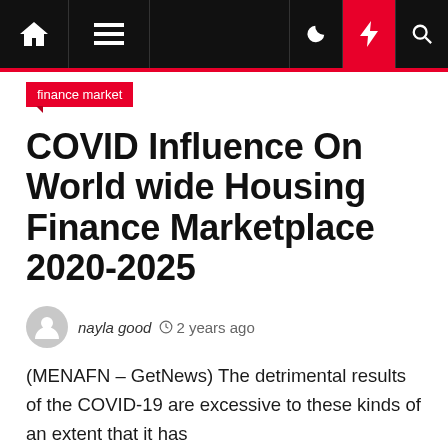finance market
COVID Influence On World wide Housing Finance Marketplace 2020-2025
nayla good  2 years ago
(MENAFN – GetNews) The detrimental results of the COVID-19 are excessive to these kinds of an extent that it has